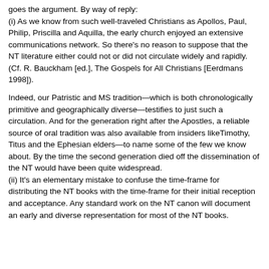goes the argument. By way of reply:
(i) As we know from such well-traveled Christians as Apollos, Paul, Philip, Priscilla and Aquilla, the early church enjoyed an extensive communications network. So there's no reason to suppose that the NT literature either could not or did not circulate widely and rapidly. (Cf. R. Bauckham [ed.], The Gospels for All Christians [Eerdmans 1998]).
Indeed, our Patristic and MS tradition—which is both chronologically primitive and geographically diverse—testifies to just such a circulation. And for the generation right after the Apostles, a reliable source of oral tradition was also available from insiders likeTimothy, Titus and the Ephesian elders—to name some of the few we know about. By the time the second generation died off the dissemination of the NT would have been quite widespread.
(ii) It's an elementary mistake to confuse the time-frame for distributing the NT books with the time-frame for their initial reception and acceptance. Any standard work on the NT canon will document an early and diverse representation for most of the NT books.